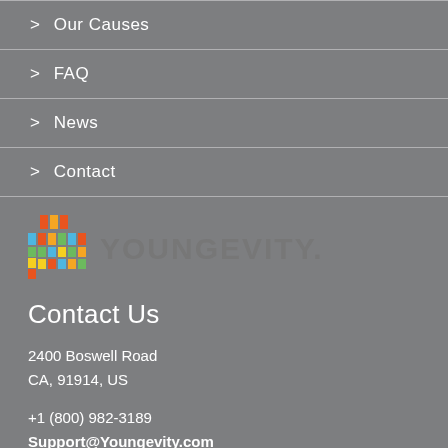> Our Causes
> FAQ
> News
> Contact
[Figure (logo): Youngevity logo with colorful cube icon and YOUNGEVITY. text]
Contact Us
2400 Boswell Road
CA, 91914, US
+1 (800) 982-3189
Support@Youngevity.com